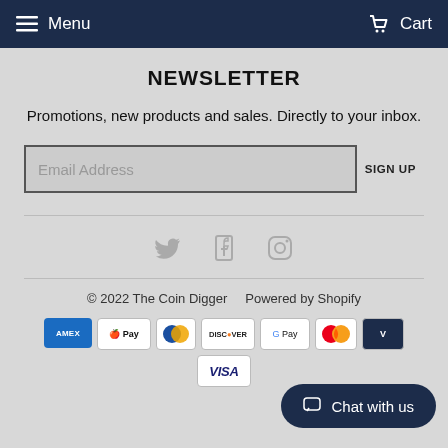Menu  Cart
NEWSLETTER
Promotions, new products and sales. Directly to your inbox.
Email Address  SIGN UP
[Figure (illustration): Social media icons: Twitter, Facebook, Instagram]
© 2022 The Coin Digger  Powered by Shopify
[Figure (illustration): Payment method icons: American Express, Apple Pay, Diners Club, Discover, Google Pay, Mastercard, Visa, and one partially hidden]
Chat with us